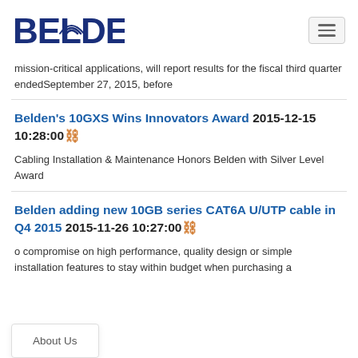[Figure (logo): Belden logo with dark blue bold text and circular wave graphic on the D letter]
mission-critical applications, will report results for the fiscal third quarter ended September 27, 2015, before
Belden's 10GXS Wins Innovators Award 2015-12-15 10:28:00
Cabling Installation & Maintenance Honors Belden with Silver Level Award
Belden adding new 10GB series CAT6A U/UTP cable in Q4 2015 2015-11-26 10:27:00
o compromise on high performance, quality design or simple installation features to stay within budget when purchasing a
About Us